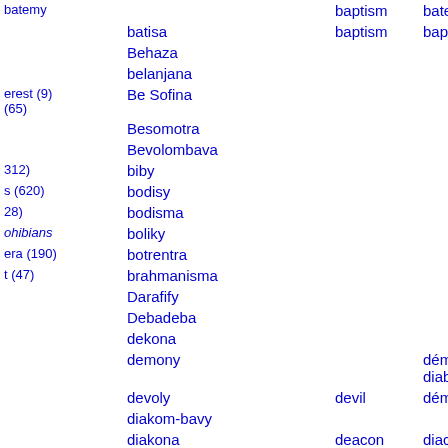| index | malagasy | english | french |
| --- | --- | --- | --- |
| batemy |  | baptism | batem... |
| batisa |  | baptism | baptê... |
| Behaza |  |  |  |
| belanjana |  |  |  |
| Be Sofina |  |  |  |
| Besomotra |  |  |  |
| Bevolombava |  |  |  |
| biby |  |  |  |
| bodisy |  |  |  |
| bodisma |  |  |  |
| boliky |  |  |  |
| botrentra |  |  |  |
| brahmanisma |  |  |  |
| Darafify |  |  |  |
| Debadeba |  |  |  |
| dekona |  |  |  |
| demony |  |  | démo... diable... |
| devoly |  | devil | démo... |
| diakom-bavy |  |  |  |
| diakona |  | deacon | diacre... |
| diakra |  | deacon | diacre... |